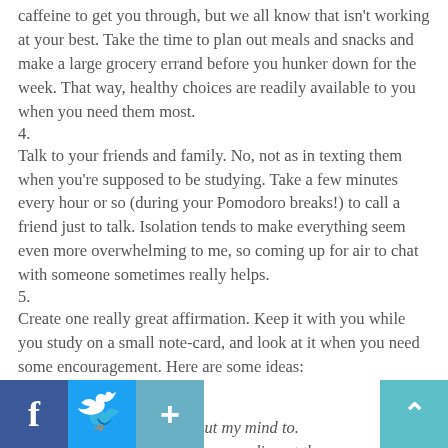cafeine to get you through, but we all know that isn't working at your best. Take the time to plan out meals and snacks and make a large grocery errand before you hunker down for the week. That way, healthy choices are readily available to you when you need them most.
4. Talk to your friends and family. No, not as in texting them when you're supposed to be studying. Take a few minutes every hour or so (during your Pomodoro breaks!) to call a friend just to talk. Isolation tends to make everything seem even more overwhelming to me, so coming up for air to chat with someone sometimes really helps.
5. Create one really great affirmation. Keep it with you while you study on a small note-card, and look at it when you need some encouragement. Here are some ideas:
I am able to do whatever I put my mind to. I am committing my mind to succeeding at these exams.